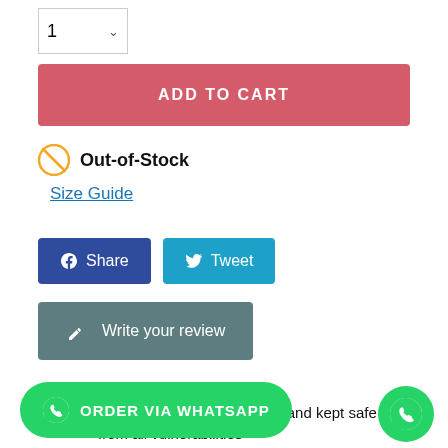[Figure (screenshot): Quantity selector input showing '1' with a dropdown chevron]
[Figure (screenshot): Red 'ADD TO CART' button]
Out-of-Stock
Size Guide
[Figure (screenshot): Facebook Share button and Twitter Tweet button]
[Figure (screenshot): Write your review button]
Security policy
Your data is securely stored and kept safe from all vulnerabilities
Delivery policy
y. Less waiting time
[Figure (screenshot): ORDER VIA WHATSAPP green banner button at bottom left]
[Figure (screenshot): WhatsApp circle icon button at bottom right]